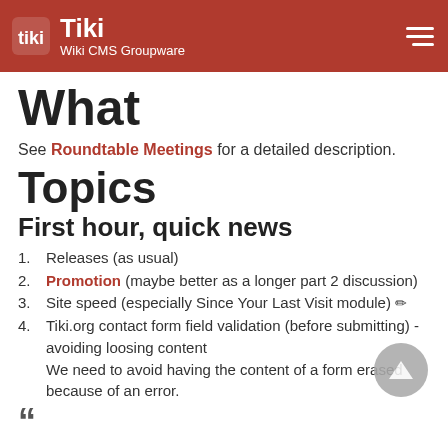Tiki Wiki CMS Groupware
What
See Roundtable Meetings for a detailed description.
Topics
First hour, quick news
1. Releases (as usual)
2. Promotion (maybe better as a longer part 2 discussion)
3. Site speed (especially Since Your Last Visit module) ✏
4. Tiki.org contact form field validation (before submitting) - avoiding loosing content
We need to avoid having the content of a form erased because of an error.